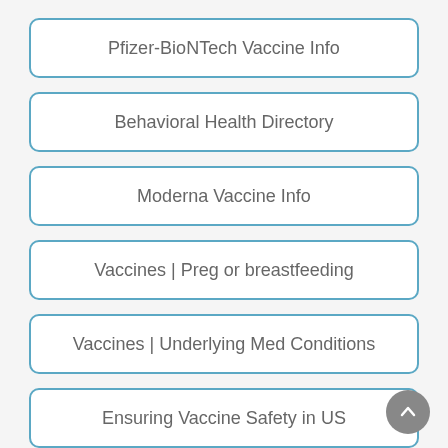Pfizer-BioNTech Vaccine Info
Behavioral Health Directory
Moderna Vaccine Info
Vaccines | Preg or breastfeeding
Vaccines | Underlying Med Conditions
Ensuring Vaccine Safety in US
Aging & Adult Services